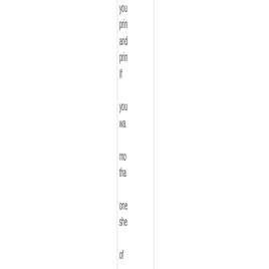you prin and prin If you wa mo tha one she of lab the just prin out the the typ the ne adc